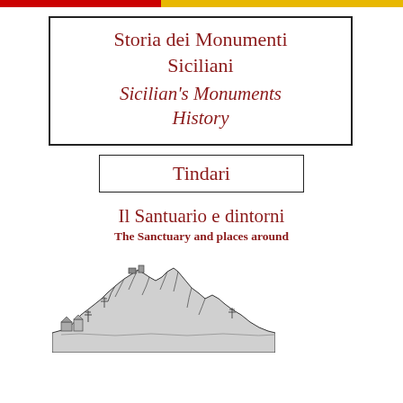Storia dei Monumenti Siciliani
Sicilian's Monuments History
Tindari
Il Santuario e dintorni
The Sanctuary and places around
[Figure (illustration): Black and white sketch illustration of a rocky hilltop landscape with buildings and trees]